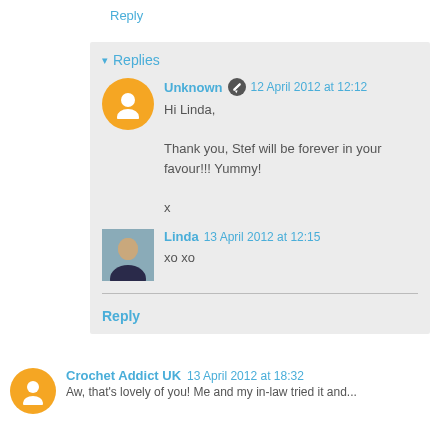Reply
▾ Replies
Unknown ✎ 12 April 2012 at 12:12
Hi Linda,

Thank you, Stef will be forever in your favour!!! Yummy!

x
Linda 13 April 2012 at 12:15
xo xo
Reply
Crochet Addict UK 13 April 2012 at 18:32